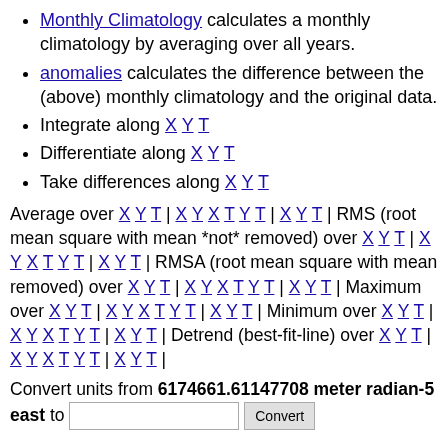Monthly Climatology calculates a monthly climatology by averaging over all years.
anomalies calculates the difference between the (above) monthly climatology and the original data.
Integrate along X Y T
Differentiate along X Y T
Take differences along X Y T
Average over X Y T | X Y X T Y T | X Y T | RMS (root mean square with mean *not* removed) over X Y T | X Y X T Y T | X Y T | RMSA (root mean square with mean removed) over X Y T | X Y X T Y T | X Y T | Maximum over X Y T | X Y X T Y T | X Y T | Minimum over X Y T | X Y X T Y T | X Y T | Detrend (best-fit-line) over X Y T | X Y X T Y T | X Y T |
Convert units from 6174661.61147708 meter radian-5 east to [input] Convert